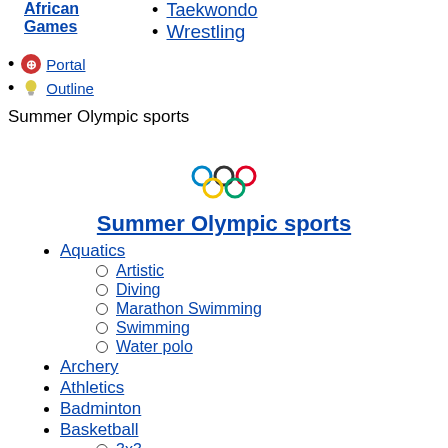African Games
Taekwondo
Wrestling
Portal
Outline
Summer Olympic sports
Summer Olympic sports
Aquatics
Artistic
Diving
Marathon Swimming
Swimming
Water polo
Archery
Athletics
Badminton
Basketball
3x3
Boxing
Canoeing
Canoe slalom
Canoe sprint